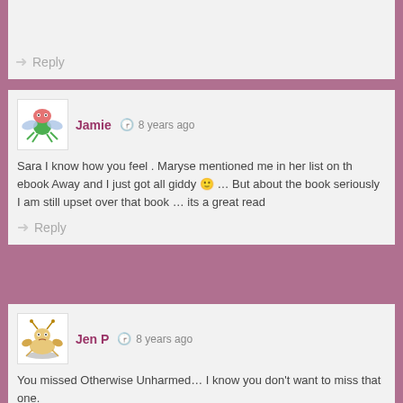Reply
[Figure (illustration): Avatar icon of a cartoon crab-like creature with green body and wings, on white background]
Jamie  8 years ago
Sara I know how you feel . Maryse mentioned me in her list on th ebook Away and I just got all giddy 🙂 … But about the book seriously I am still upset over that book … its a great read
Reply
[Figure (illustration): Avatar icon of a cartoon crab/lobster creature on a plate, on white background]
Jen P  8 years ago
You missed Otherwise Unharmed… I know you don't want to miss that one.